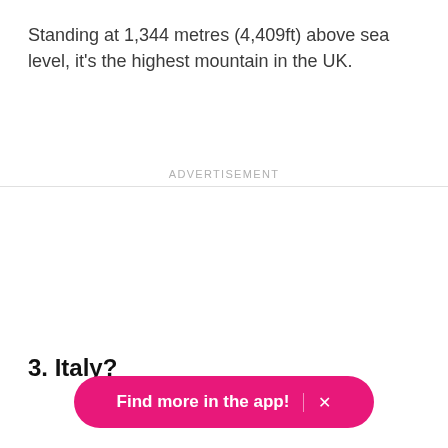Standing at 1,344 metres (4,409ft) above sea level, it's the highest mountain in the UK.
ADVERTISEMENT
3. Italy?
Find more in the app!  ×